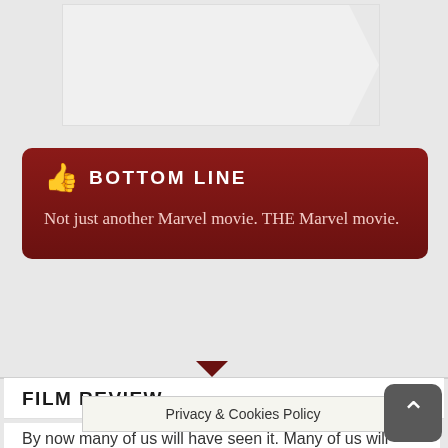[Figure (other): Placeholder image area with arrow-bookmark shape on right side]
BOTTOM LINE
Not just another Marvel movie. THE Marvel movie.
FILM REVIEW
By now many of us will have seen it. Many of us will know that after, 22 films and 11 years, the Russo Brothers have pulled off the impossible with a breath-taking, fan-pleasing, roller-coaster finale. We will know that Endgames is more than a last bow for the characters we love; it's the final piece in the puzzle. A film that ... plot
Privacy & Cookies Policy